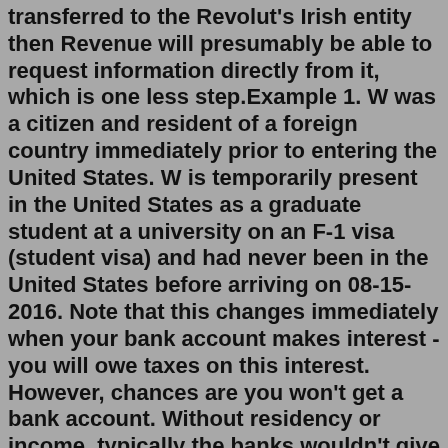transferred to the Revolut's Irish entity then Revenue will presumably be able to request information directly from it, which is one less step.Example 1. W was a citizen and resident of a foreign country immediately prior to entering the United States. W is temporarily present in the United States as a graduate student at a university on an F-1 visa (student visa) and had never been in the United States before arriving on 08-15-2016. Note that this changes immediately when your bank account makes interest - you will owe taxes on this interest. However, chances are you won't get a bank account. Without residency or income, typically the banks wouldn't give you an account. Feel free to try, though.Apr 26, 2020 · Household utility bill (electricity, gas, water, landline, etc.) Council tax bill. Valid UK driving license. NHS card. The rental agreement for your current residence. The mortgage statement for your current residence. Documents that are typically not counted as proof of address include: Passports. Birth certificates. Comparing Tax Benefits of LLC or S...